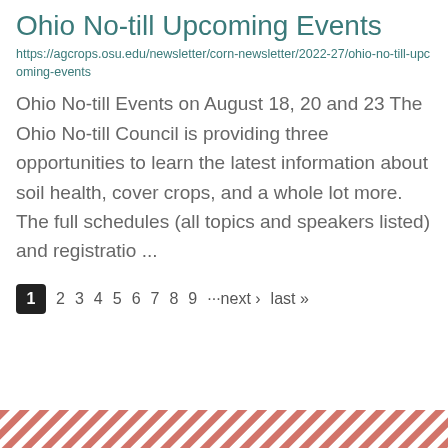Ohio No-till Upcoming Events
https://agcrops.osu.edu/newsletter/corn-newsletter/2022-27/ohio-no-till-upcoming-events
Ohio No-till Events on August 18, 20 and 23 The Ohio No-till Council is providing three opportunities to learn the latest information about soil health, cover crops, and a whole lot more. The full schedules (all topics and speakers listed) and registratio ...
1 2 3 4 5 6 7 8 9 ···next › last »